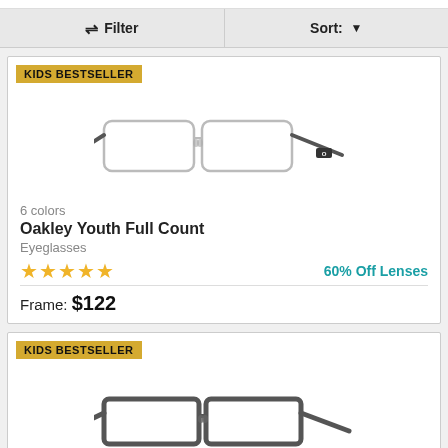Filter | Sort:
[Figure (photo): Oakley Youth Full Count clear/transparent eyeglasses frame with dark grey temples]
6 colors
Oakley Youth Full Count
Eyeglasses
★★★★★  60% Off Lenses
Frame: $122
[Figure (photo): Oakley kids eyeglasses frame in dark grey/gunmetal color, rectangular shape]